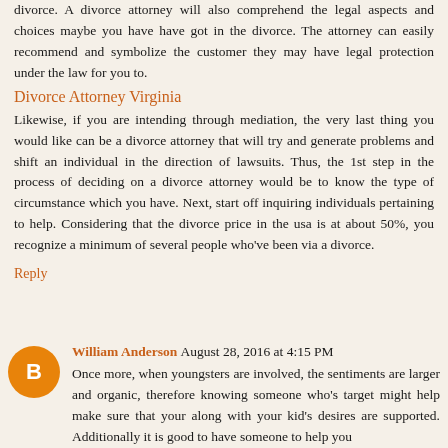divorce. A divorce attorney will also comprehend the legal aspects and choices maybe you have have got in the divorce. The attorney can easily recommend and symbolize the customer they may have legal protection under the law for you to.
Divorce Attorney Virginia
Likewise, if you are intending through mediation, the very last thing you would like can be a divorce attorney that will try and generate problems and shift an individual in the direction of lawsuits. Thus, the 1st step in the process of deciding on a divorce attorney would be to know the type of circumstance which you have. Next, start off inquiring individuals pertaining to help. Considering that the divorce price in the usa is at about 50%, you recognize a minimum of several people who've been via a divorce.
Reply
William Anderson August 28, 2016 at 4:15 PM
Once more, when youngsters are involved, the sentiments are larger and organic, therefore knowing someone who's target might help make sure that your along with your kid's desires are supported. Additionally it is good to have someone to help you